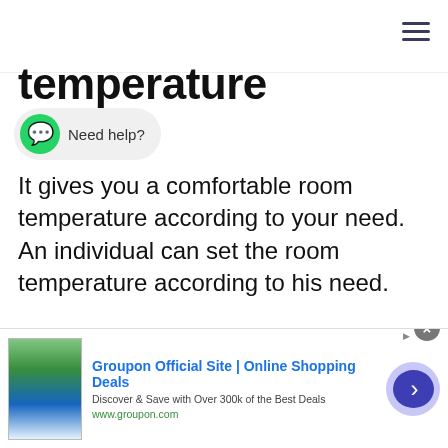temperature
It gives you a comfortable room temperature according to your need. An individual can set the room temperature according to his need.
Acceptable design
[Figure (other): Advertisement banner: Groupon Official Site | Online Shopping Deals. Discover & Save with Over 300k of the Best Deals. www.groupon.com]